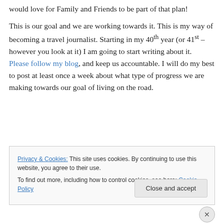would love for Family and Friends to be part of that plan!
This is our goal and we are working towards it. This is my way of becoming a travel journalist. Starting in my 40th year (or 41st – however you look at it) I am going to start writing about it. Please follow my blog, and keep us accountable. I will do my best to post at least once a week about what type of progress we are making towards our goal of living on the road.
Privacy & Cookies: This site uses cookies. By continuing to use this website, you agree to their use. To find out more, including how to control cookies, see here: Cookie Policy